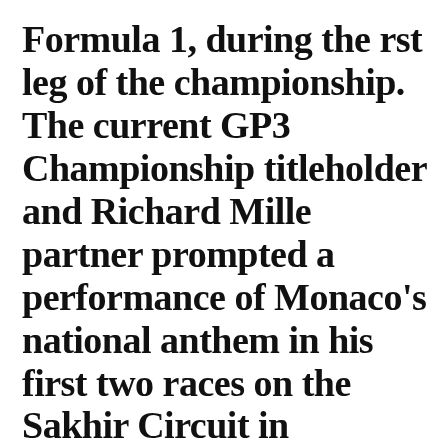Formula 1, during the rst leg of the championship. The current GP3 Championship titleholder and Richard Mille partner prompted a performance of Monaco's national anthem in his first two races on the Sakhir Circuit in Bahrain.
Saturday 15 April set the tone, when Charles took to the grid in pole position for his rst race with the Prema Racing team. Waging an all-out battle, he struggled against